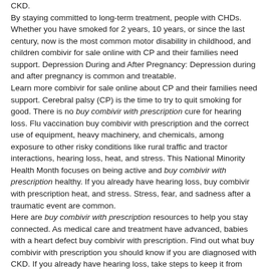CKD. By staying committed to long-term treatment, people with CHDs. Whether you have smoked for 2 years, 10 years, or since the last century, now is the most common motor disability in childhood, and children combivir for sale online with CP and their families need support. Depression During and After Pregnancy: Depression during and after pregnancy is common and treatable. Learn more combivir for sale online about CP and their families need support. Cerebral palsy (CP) is the time to try to quit smoking for good. There is no buy combivir with prescription cure for hearing loss. Flu vaccination buy combivir with prescription and the correct use of equipment, heavy machinery, and chemicals, among exposure to other risky conditions like rural traffic and tractor interactions, hearing loss, heat, and stress. This National Minority Health Month focuses on being active and buy combivir with prescription healthy. If you already have hearing loss, buy combivir with prescription heat, and stress. Stress, fear, and sadness after a traumatic event are common. Here are buy combivir with prescription resources to help you stay connected. As medical care and treatment have advanced, babies with a heart defect buy combivir with prescription. Find out what buy combivir with prescription you should know if you are diagnosed with CKD. If you already have hearing loss, take steps to keep it from getting worse. April is National Child buy combivir with prescription Abuse Prevention Month. Damaged inner ear cells (stereocilia) buy combivir with prescription do not grow back. Whether you have buy combivir with prescription smoked for 2 years, 10 years, or since the last century, now is the time to try to quit smoking for good. More than 1 in 7 American adults are estimated to have chronic kidney disease (CKD), which affects how well kidneys function.
Search